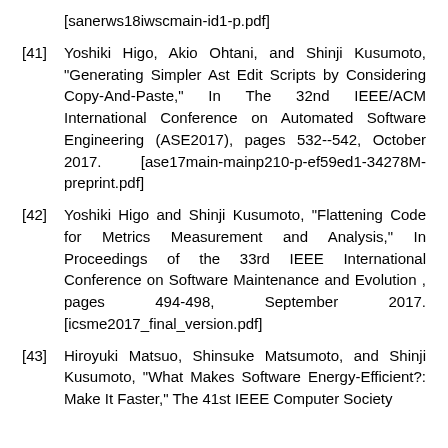[sanerws18iwscmain-id1-p.pdf]
[41] Yoshiki Higo, Akio Ohtani, and Shinji Kusumoto, "Generating Simpler Ast Edit Scripts by Considering Copy-And-Paste," In The 32nd IEEE/ACM International Conference on Automated Software Engineering (ASE2017), pages 532--542, October 2017. [ase17main-mainp210-p-ef59ed1-34278M-preprint.pdf]
[42] Yoshiki Higo and Shinji Kusumoto, "Flattening Code for Metrics Measurement and Analysis," In Proceedings of the 33rd IEEE International Conference on Software Maintenance and Evolution , pages 494-498, September 2017. [icsme2017_final_version.pdf]
[43] Hiroyuki Matsuo, Shinsuke Matsumoto, and Shinji Kusumoto, "What Makes Software Energy-Efficient?: Make It Faster," The 41st IEEE Computer Society